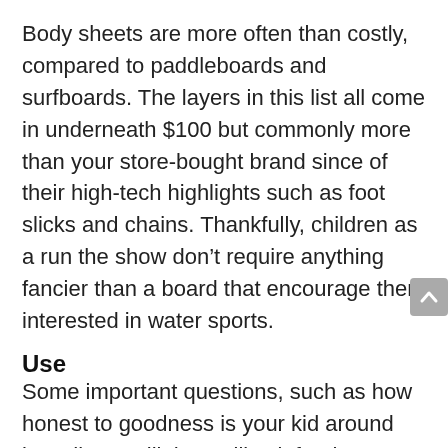Body sheets are more often than costly, compared to paddleboards and surfboards. The layers in this list all come in underneath $100 but commonly more than your store-bought brand since of their high-tech highlights such as foot slicks and chains. Thankfully, children as a run the show don't require anything fancier than a board that encourage them interested in water sports.
Use
Some important questions, such as how honest to goodness is your kid around boarding? Will they utilize it for the swimming pool or the sea?